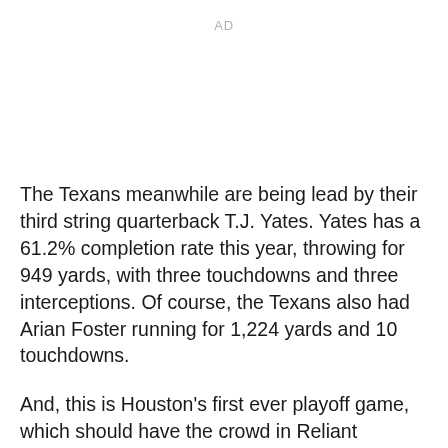AD
The Texans meanwhile are being lead by their third string quarterback T.J. Yates. Yates has a 61.2% completion rate this year, throwing for 949 yards, with three touchdowns and three interceptions. Of course, the Texans also had Arian Foster running for 1,224 yards and 10 touchdowns.
And, this is Houston's first ever playoff game, which should have the crowd in Reliant Stadium rocking.
Since the Super Bowl…